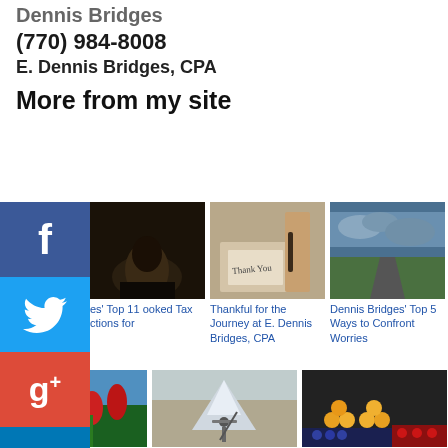Dennis Bridges
(770) 984-8008
E. Dennis Bridges, CPA
More from my site
[Figure (photo): Dark silhouette photo — article thumbnail]
[Figure (photo): Thank You card being written — article thumbnail]
[Figure (photo): Road under stormy sky — article thumbnail]
es' Top 11 ooked Tax ctions for
Thankful for the Journey at E. Dennis Bridges, CPA
Dennis Bridges' Top 5 Ways to Confront Worries
[Figure (photo): Red tulips — article thumbnail]
[Figure (photo): Mountain and warrior — article thumbnail]
[Figure (photo): Colorful fruit market — article thumbnail]
Greater Atlanta
Bridges' 6
Greater Atlanta